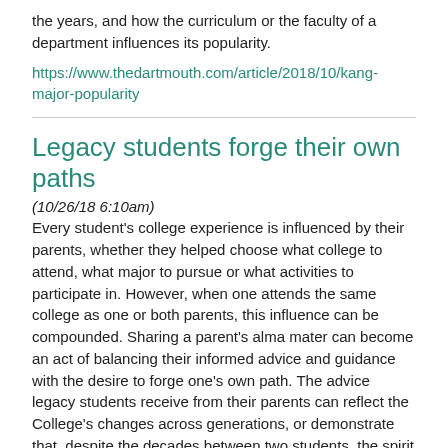the years, and how the curriculum or the faculty of a department influences its popularity.
https://www.thedartmouth.com/article/2018/10/kang-major-popularity
Legacy students forge their own paths
(10/26/18 6:10am)
Every student's college experience is influenced by their parents, whether they helped choose what college to attend, what major to pursue or what activities to participate in. However, when one attends the same college as one or both parents, this influence can be compounded. Sharing a parent's alma mater can become an act of balancing their informed advice and guidance with the desire to forge one's own path. The advice legacy students receive from their parents can reflect the College's changes across generations, or demonstrate that, despite the decades between two students, the spirit of Dartmouth holds true.
https://www.thedartmouth.com/article/2018/10/legacy-students-forge-their-own-paths